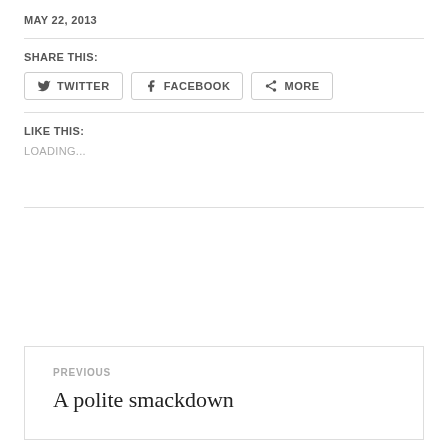MAY 22, 2013
SHARE THIS:
TWITTER FACEBOOK MORE
LIKE THIS:
LOADING...
PREVIOUS
A polite smackdown